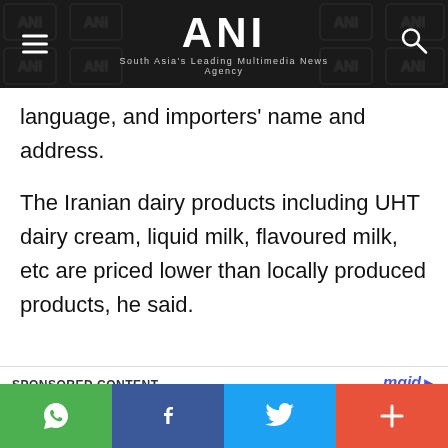ANI — South Asia's Leading Multimedia News Agency
language, and importers' name and address.
The Iranian dairy products including UHT dairy cream, liquid milk, flavoured milk, etc are priced lower than locally produced products, he said.
SPONSORED CONTENT
[Figure (photo): Thumbnail image of a woman with red hair and hat next to article teaser]
10 Gorgeous Asian Actresses No Man Can Resist
Social share bar with WhatsApp, Facebook, Twitter, and More buttons